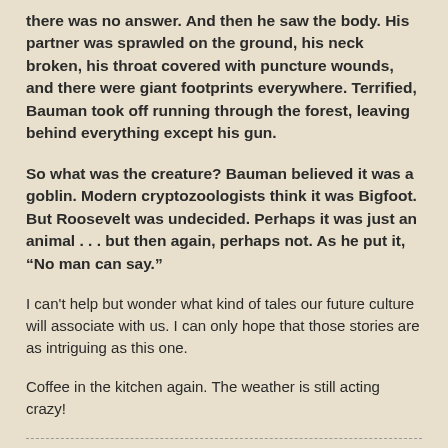there was no answer. And then he saw the body. His partner was sprawled on the ground, his neck broken, his throat covered with puncture wounds, and there were giant footprints everywhere. Terrified, Bauman took off running through the forest, leaving behind everything except his gun.
So what was the creature? Bauman believed it was a goblin. Modern cryptozoologists think it was Bigfoot. But Roosevelt was undecided. Perhaps it was just an animal . . . but then again, perhaps not. As he put it, “No man can say.”
I can't help but wonder what kind of tales our future culture will associate with us. I can only hope that those stories are as intriguing as this one.
Coffee in the kitchen again. The weather is still acting crazy!
HermitJim at 12:00 AM    9 comments: